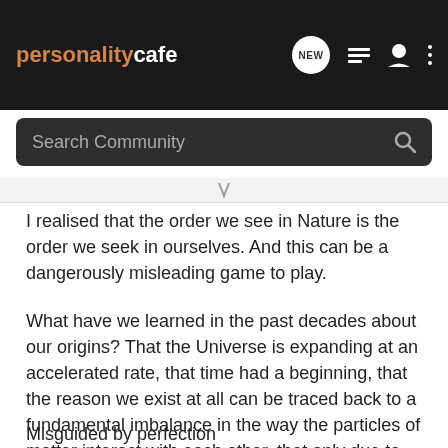personalitycafe NEW
Search Community
I realised that the order we see in Nature is the order we seek in ourselves. And this can be a dangerously misleading game to play.
What have we learned in the past decades about our origins? That the Universe is expanding at an accelerated rate, that time had a beginning, that the reason we exist at all can be traced back to a fundamental imbalance in the way the particles of matter interact with each other, that only due to random mutations life can thrive and adapt. We have learned that Nature relies on imperfections in order for atoms, people, and galaxies to exist.
Misguided by perfection